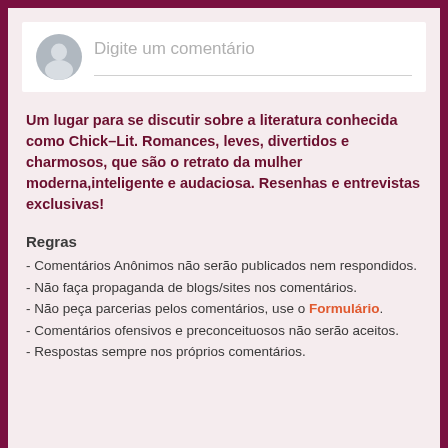[Figure (screenshot): Comment input box with grey avatar icon and placeholder text 'Digite um comentário']
Um lugar para se discutir sobre a literatura conhecida como Chick–Lit. Romances, leves, divertidos e charmosos, que são o retrato da mulher moderna,inteligente e audaciosa. Resenhas e entrevistas exclusivas!
Regras
- Comentários Anônimos não serão publicados nem respondidos.
- Não faça propaganda de blogs/sites nos comentários.
- Não peça parcerias pelos comentários, use o Formulário.
- Comentários ofensivos e preconceituosos não serão aceitos.
- Respostas sempre nos próprios comentários.